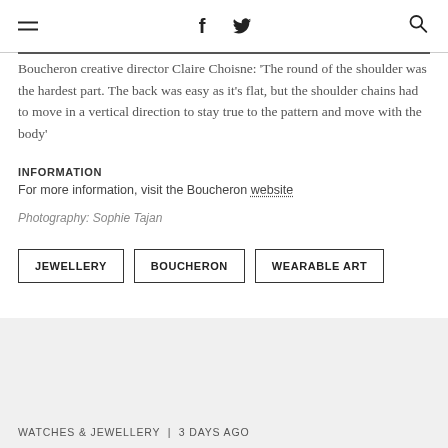f [facebook] [twitter] Q [search]
Boucheron creative director Claire Choisne: 'The round of the shoulder was the hardest part. The back was easy as it's flat, but the shoulder chains had to move in a vertical direction to stay true to the pattern and move with the body'
INFORMATION
For more information, visit the Boucheron website
Photography: Sophie Tajan
JEWELLERY
BOUCHERON
WEARABLE ART
WATCHES & JEWELLERY | 3 DAYS AGO